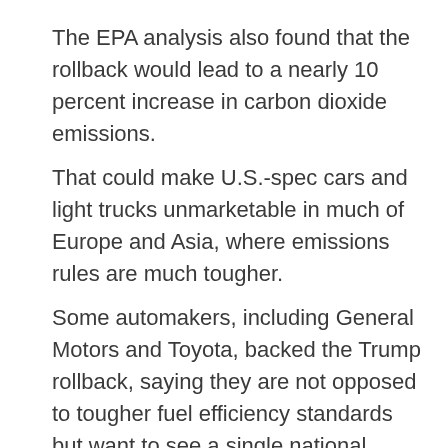The EPA analysis also found that the rollback would lead to a nearly 10 percent increase in carbon dioxide emissions.
That could make U.S.-spec cars and light trucks unmarketable in much of Europe and Asia, where emissions rules are much tougher.
Some automakers, including General Motors and Toyota, backed the Trump rollback, saying they are not opposed to tougher fuel efficiency standards but want to see a single national standard.
California is allowed under the federal Clean Air Act to impose tougher-than-federal emissions rules, and other states can opt to adopt